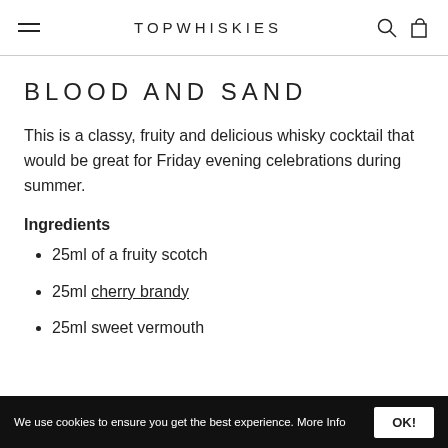TOPWHISKIES
BLOOD AND SAND
This is a classy, fruity and delicious whisky cocktail that would be great for Friday evening celebrations during summer.
Ingredients
25ml of a fruity scotch
25ml cherry brandy
25ml sweet vermouth
We use cookies to ensure you get the best experience. More Info  OK!